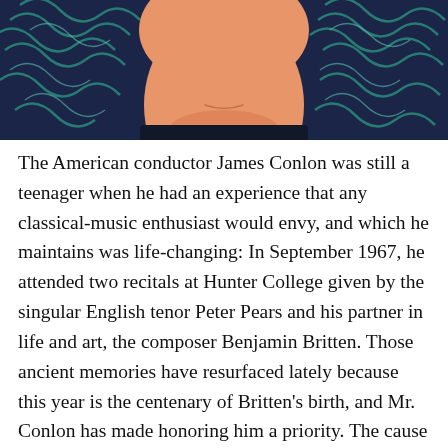[Figure (illustration): Illustrated portrait of a person (James Conlon) shown from the lower face/neck up, with orange/peach skin tones, against a dark navy blue background with teal decorative swirling patterns on either side.]
The American conductor James Conlon was still a teenager when he had an experience that any classical-music enthusiast would envy, and which he maintains was life-changing: In September 1967, he attended two recitals at Hunter College given by the singular English tenor Peter Pears and his partner in life and art, the composer Benjamin Britten. Those ancient memories have resurfaced lately because this year is the centenary of Britten's birth, and Mr. Conlon has made honoring him a priority. The cause has brought him back to the Metropolitan Opera for the first time since 2009, to lead the company's sole nod to Britten this season, a revival, beginning Friday, of Tim Albery's 1996 production of “A Midsummer Night's Dream,” based on Shakespeare's play and unseen in the house since 2002.